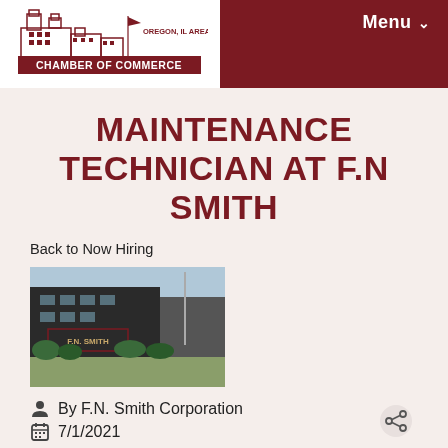[Figure (logo): Oregon IL Area Chamber of Commerce logo with building illustration and red banner]
Menu
MAINTENANCE TECHNICIAN AT F.N SMITH
Back to Now Hiring
[Figure (photo): F.N. Smith Corporation building exterior with sign and landscaping]
By F.N. Smith Corporation
7/1/2021
Maintenance Technician